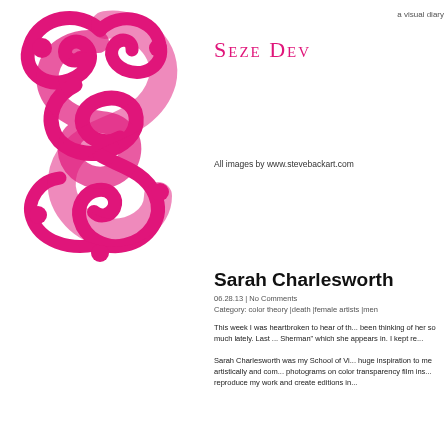[Figure (logo): Decorative magenta swirl S-shaped logo]
a visual diary
Seze Dev
All images by www.stevebackart.com
Sarah Charlesworth
06.28.13 | No Comments
Category: color theory |death |female artists |men
This week I was heartbroken to hear of th... been thinking of her so much lately. Last ... Sherman" which she appears in. I kept re...

Sarah Charlesworth was my School of Vi... huge inspiration to me artistically and com... photograms on color transparency film ins... reproduce my work and create editions in...